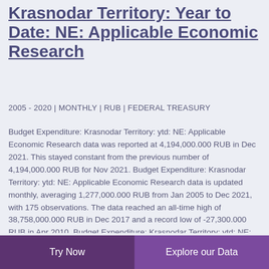Krasnodar Territory: Year to Date: NE: Applicable Economic Research
2005 - 2020 | MONTHLY | RUB | FEDERAL TREASURY
Budget Expenditure: Krasnodar Territory: ytd: NE: Applicable Economic Research data was reported at 4,194,000.000 RUB in Dec 2021. This stayed constant from the previous number of 4,194,000.000 RUB for Nov 2021. Budget Expenditure: Krasnodar Territory: ytd: NE: Applicable Economic Research data is updated monthly, averaging 1,277,000.000 RUB from Jan 2005 to Dec 2021, with 175 observations. The data reached an all-time high of 38,758,000.000 RUB in Dec 2017 and a record low of -27,300.000 RUB in Apr 2010. Budget Expenditure: Krasnodar Territory: ytd: NE: Applicable Economic Research data remains active status in CEIC and is reported by Federal Treasury. The data is categorized under Russia...
Try Now | Explore our Data